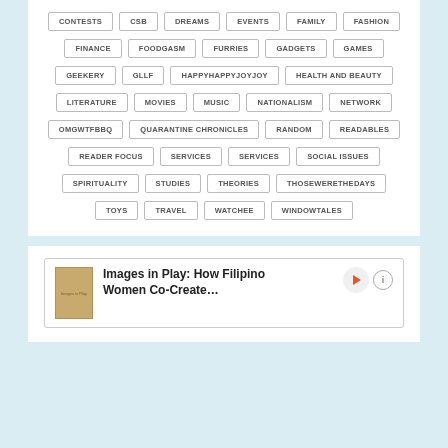CONTESTS
CSB
DREAMS
EVENTS
FAMILY
FASHION
FINANCE
FOODGASM
FURRIES
GADGETS
GAMES
GEEKERY
GLLF
HAPPYHAPPYJOYJOY
HEALTH AND BEAUTY
LITERATURE
MOVIES
MUSIC
NATIONALISM
NETWORK
OMGWTFBBQ
QUARANTINE CHRONICLES
RANDOM
READABLES
READER FOCUS
SERVICES
SERVICES
SOCIAL ISSUES
SPIRITUALITY
STUDIES
THEORIES
THOSEWERETHEDAYS
TOYS
TRAVEL
WATCHEE
WINDOWTALES
Images in Play: How Filipino Women Co-Create…